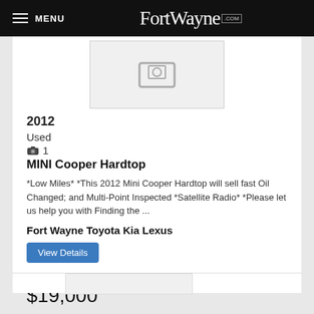MENU FortWayne.com
[Figure (photo): Placeholder image thumbnail for vehicle listing]
2012
Used
📷 1
MINI Cooper Hardtop
*Low Miles* *This 2012 Mini Cooper Hardtop will sell fast Oil Changed; and Multi-Point Inspected *Satellite Radio* *Please let us help you with Finding the ...
Fort Wayne Toyota Kia Lexus
View Details
33,586 mi
$19,000